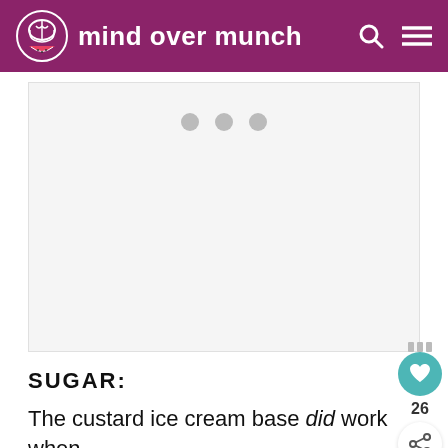mind over munch
[Figure (other): Video or media player placeholder with three gray dots indicating loading state]
SUGAR:
The custard ice cream base did work when made with a low-calorie
[Figure (other): Advertisement banner: It's time to talk about Alzheimer's. LEARN MORE. Alzheimer's Association logo.]